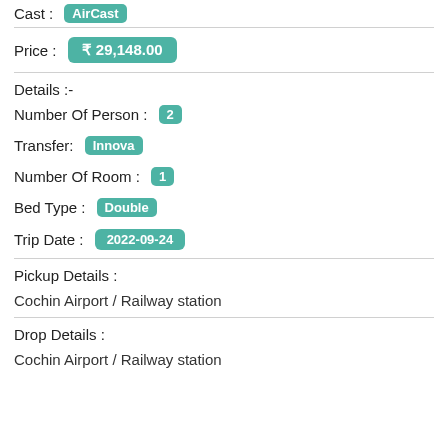Cast : AirCast
Price : ₹ 29,148.00
Details :-
Number Of Person : 2
Transfer: Innova
Number Of Room : 1
Bed Type : Double
Trip Date : 2022-09-24
Pickup Details :
Cochin Airport / Railway station
Drop Details :
Cochin Airport / Railway station